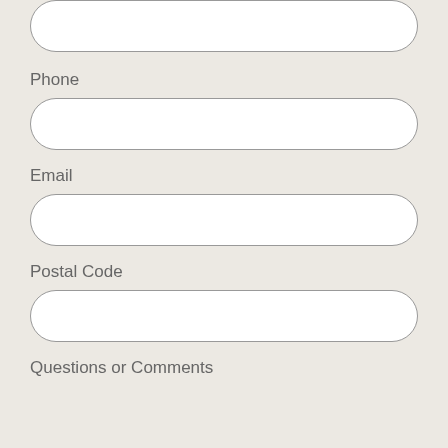[Figure (other): Empty rounded input field at top of page (partial, cropped)]
Phone
[Figure (other): Empty rounded input field for Phone]
Email
[Figure (other): Empty rounded input field for Email]
Postal Code
[Figure (other): Empty rounded input field for Postal Code]
Questions or Comments